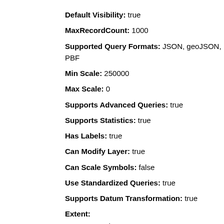Default Visibility: true
MaxRecordCount: 1000
Supported Query Formats: JSON, geoJSON, PBF
Min Scale: 250000
Max Scale: 0
Supports Advanced Queries: true
Supports Statistics: true
Has Labels: true
Can Modify Layer: true
Can Scale Symbols: false
Use Standardized Queries: true
Supports Datum Transformation: true
Extent: XMin: -9206086.2651603 YMin: 4461734.283087577